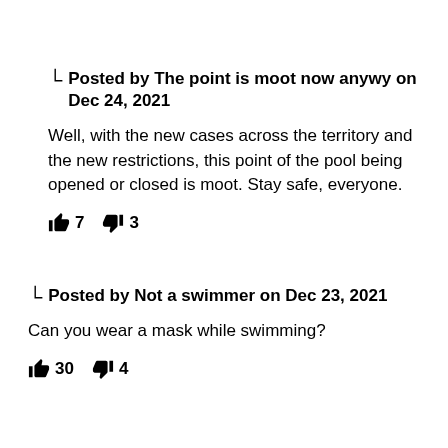Posted by The point is moot now anywy on Dec 24, 2021
Well, with the new cases across the territory and the new restrictions, this point of the pool being opened or closed is moot. Stay safe, everyone.
👍 7   👎 3
Posted by Not a swimmer on Dec 23, 2021
Can you wear a mask while swimming?
👍 30   👎 4